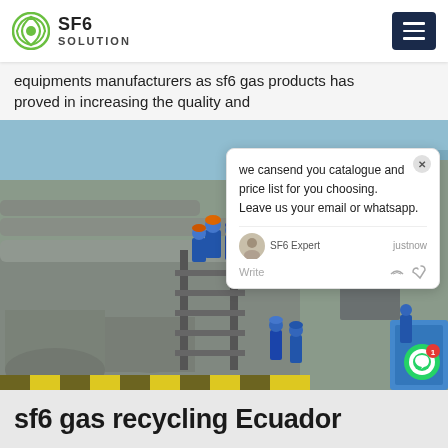SF6 SOLUTION
equipments manufacturers as sf6 gas products has proved in increasing the quality and
[Figure (photo): Industrial workers in blue and orange hard hats standing on scaffolding next to large grey SF6 gas equipment/transformers at an outdoor industrial site. Multiple large cylindrical pressure vessels and pipes visible.]
we cansend you catalogue and price list for you choosing. Leave us your email or whatsapp. SF6 Expert  justnow  Write
sf6 gas recycling Ecuador